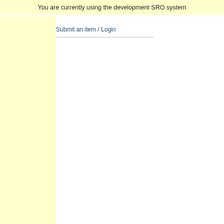You are currently using the development SRO system
Submit an item / Login
mitochondrial DNA
+ Tools
Bailey, Laura J, Bianchi, Julie and D
mitochondrial DNA replication in hu
[Figure (other): PDF file icon]
PDF (This article has be Press.) - Accepted Versi Download (2MB)
Abstract
Eukaryotic Primase-Polymerase (P restart downstream of replicase sta cells, we generated PrimPol-delete nucleus and mitochondrion, even i recovery after UV-C damage and i sensitive to genotoxins. PrimPol is increased mtDNA copy number but functional polymerase Eta, causes treatment. We show that, unlike ca